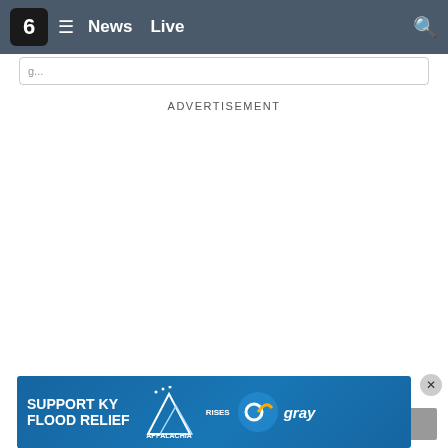6 News Live
ADVERTISEMENT
Latest News
B... n and
[Figure (screenshot): Bottom banner advertisement for SUPPORT KY FLOOD RELIEF with Appalachia Rises mountain logo and Gray television logo]